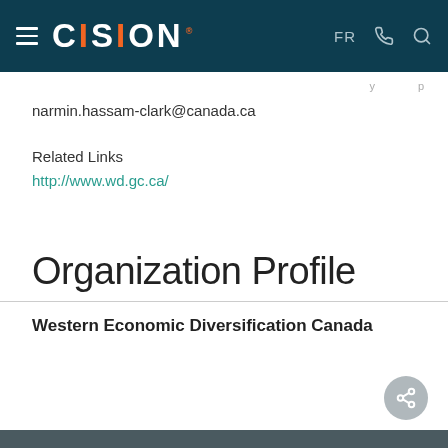CISION — navigation bar with FR, phone, search icons
narmin.hassam-clark@canada.ca
Related Links
http://www.wd.gc.ca/
Organization Profile
Western Economic Diversification Canada